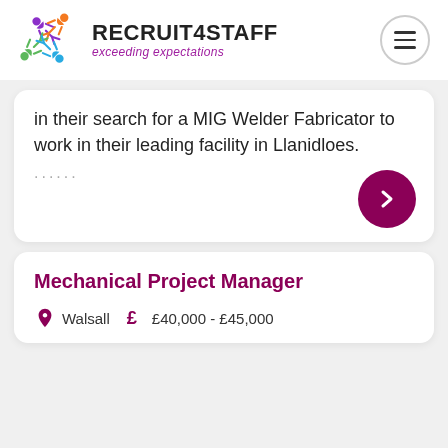[Figure (logo): Recruit4Staff logo with colorful star/person shapes and text 'RECRUIT4STAFF exceeding expectations']
in their search for a MIG Welder Fabricator to work in their leading facility in Llanidloes.
......
Mechanical Project Manager
Walsall  £  £40,000 - £45,000